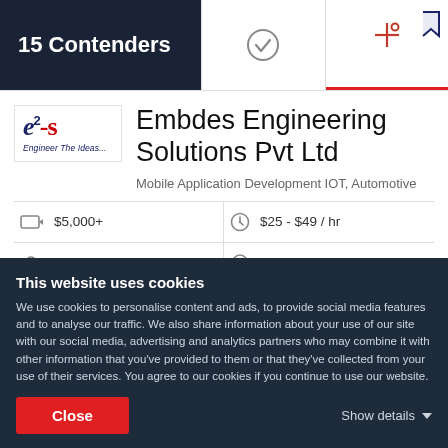15 Contenders
[Figure (logo): e2-s Engineer The Ideas logo]
Embdes Engineering Solutions Pvt Ltd
Mobile Application Development IOT, Automotive
| $5,000+ | $25 - $49 / hr |
| 10 - 49 | Bengaluru, India |
This website uses cookies
We use cookies to personalise content and ads, to provide social media features and to analyse our traffic. We also share information about your use of our site with our social media, advertising and analytics partners who may combine it with other information that you've provided to them or that they've collected from your use of their services. You agree to our cookies if you continue to use our website.
Close
Show details